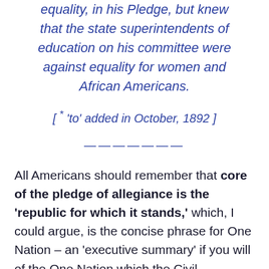equality, in his Pledge, but knew that the state superintendents of education on his committee were against equality for women and African Americans.
[ * 'to' added in October, 1892 ]
-------
All Americans should remember that core of the pledge of allegiance is the 'republic for which it stands,' which, I could argue, is the concise phrase for One Nation – an 'executive summary' if you will of the One Nation which the Civil